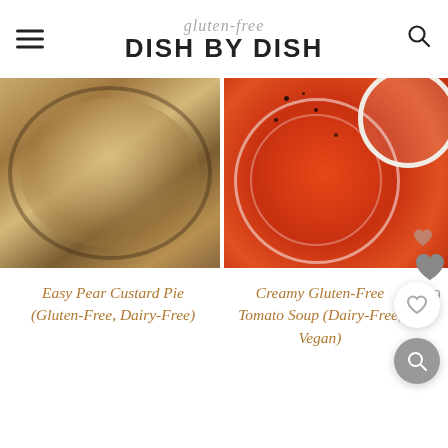gluten-free DISH BY DISH
[Figure (photo): Overhead photo of pear custard pie in a dark skillet with a pastry brush and wooden board]
[Figure (photo): Overhead photo of creamy tomato soup in a white bowl with cream swirl and black pepper]
Easy Pear Custard Pie (Gluten-Free, Dairy-Free)
Creamy Gluten-Free Tomato Soup (Dairy-Free, Vegan)